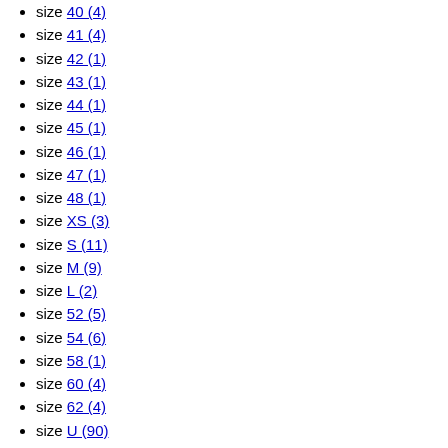size 40 (4)
size 41 (4)
size 42 (1)
size 43 (1)
size 44 (1)
size 45 (1)
size 46 (1)
size 47 (1)
size 48 (1)
size XS (3)
size S (11)
size M (9)
size L (2)
size 52 (5)
size 54 (6)
size 58 (1)
size 60 (4)
size 62 (4)
size U (90)
Gender
Women (9)
Men (1)
Unisex (4)